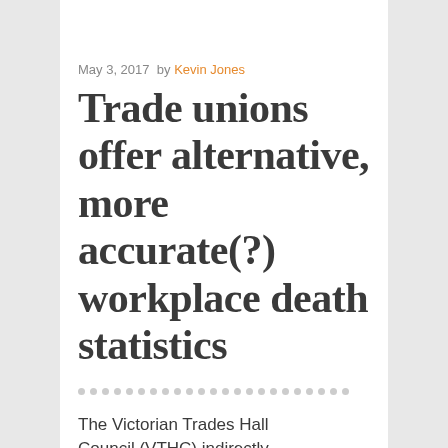May 3, 2017  by Kevin Jones
Trade unions offer alternative, more accurate(?) workplace death statistics
The Victorian Trades Hall Council (VTHC) indirectly